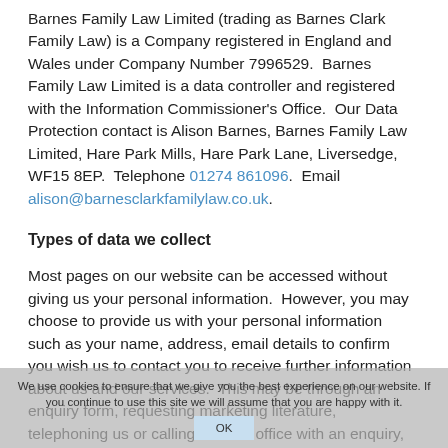Barnes Family Law Limited (trading as Barnes Clark Family Law) is a Company registered in England and Wales under Company Number 7996529.  Barnes Family Law Limited is a data controller and registered with the Information Commissioner's Office.  Our Data Protection contact is Alison Barnes, Barnes Family Law Limited, Hare Park Mills, Hare Park Lane, Liversedge, WF15 8EP.  Telephone 01274 861096.  Email alison@barnesclarkfamilylaw.co.uk.
Types of data we collect
Most pages on our website can be accessed without giving us your personal information.  However, you may choose to provide us with your personal information such as your name, address, email details to confirm you wish us to contact you to receive further information about us and our services.  This may be through an enquiry form, requesting marketing literature, telephoning us or calling into our office with an enquiry, expressing an interest at a seminar or event.  By submitting your personal information you consent to our use of the information as set out in this Privacy Notice.  We may also contact you to follow up